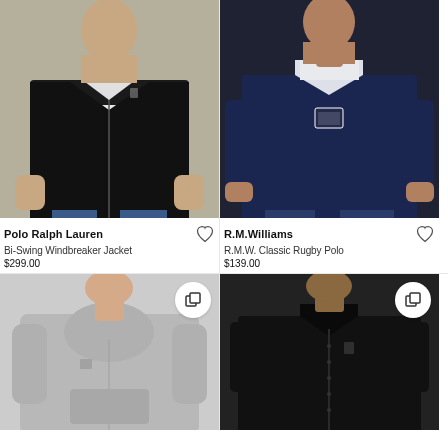[Figure (photo): Man wearing black Bi-Swing Windbreaker Jacket by Polo Ralph Lauren, shown from chest down with white t-shirt underneath, olive/taupe background]
Polo Ralph Lauren
Bi-Swing Windbreaker Jacket
$299.00
[Figure (photo): Man wearing navy R.M.W. Classic Rugby Polo by R.M.Williams with white collar, dark background]
R.M.Williams
R.M.W. Classic Rugby Polo
$139.00
[Figure (photo): Man wearing light grey hoodie sweatshirt with small logo, light grey background, multiple colors available icon shown]
[Figure (photo): Man wearing black button-down shirt with small Polo Ralph Lauren pony logo, dark background, multiple colors available icon shown]